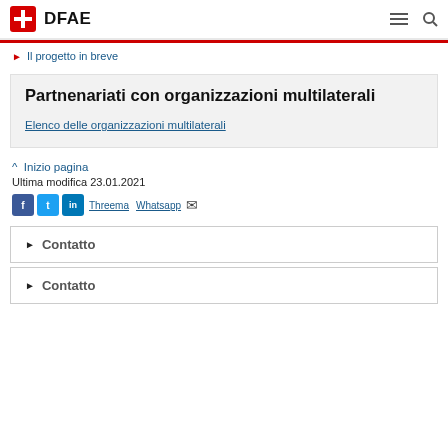DFAE
Il progetto in breve
Partnenariati con organizzazioni multilaterali
Elenco delle organizzazioni multilaterali
^ Inizio pagina
Ultima modifica 23.01.2021
Fb Tw in Threema Whatsapp mail
Contatto
Contatto